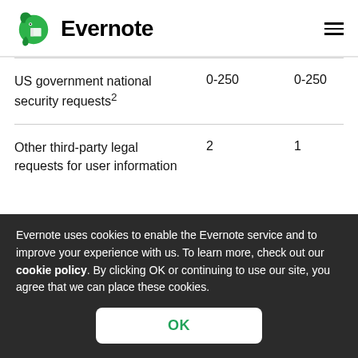Evernote
| US government national security requests² | 0-250 | 0-250 |
| Other third-party legal requests for user information | 2 | 1 |
Evernote uses cookies to enable the Evernote service and to improve your experience with us. To learn more, check out our cookie policy. By clicking OK or continuing to use our site, you agree that we can place these cookies.